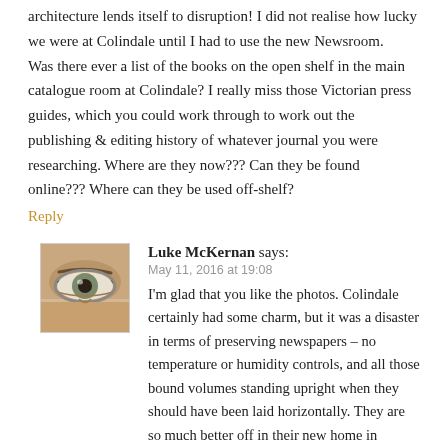architecture lends itself to disruption! I did not realise how lucky we were at Colindale until I had to use the new Newsroom. Was there ever a list of the books on the open shelf in the main catalogue room at Colindale? I really miss those Victorian press guides, which you could work through to work out the publishing & editing history of whatever journal you were researching. Where are they now??? Can they be found online??? Where can they be used off-shelf?
Reply
Luke McKernan says:
May 11, 2016 at 19:08
I'm glad that you like the photos. Colindale certainly had some charm, but it was a disaster in terms of preserving newspapers – no temperature or humidity controls, and all those bound volumes standing upright when they should have been laid horizontally. They are so much better off in their new home in Boston Spa. I'm sorry that you are not happy with the Newsroom: